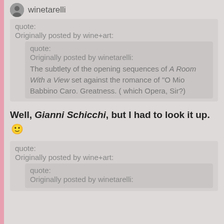winetarelli
quote:
Originally posted by wine+art:
quote:
Originally posted by winetarelli:
The subtlety of the opening sequences of A Room With a View set against the romance of "O Mio Babbino Caro. Greatness. ( which Opera, Sir?)
Well, Gianni Schicchi, but I had to look it up. 🙂
quote:
Originally posted by wine+art:
quote:
Originally posted by winetarelli: